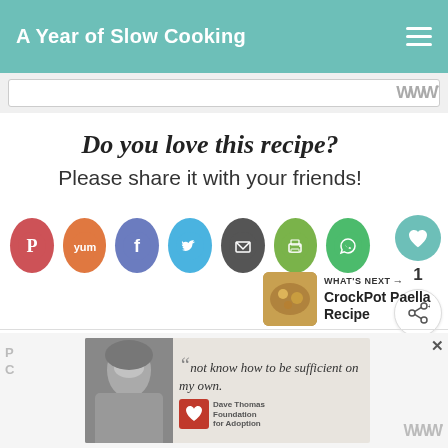A Year of Slow Cooking
Do you love this recipe?
Please share it with your friends!
[Figure (infographic): Row of social share buttons: Pinterest (red), Yum (orange), Facebook (blue-purple), Twitter (light blue), Email (dark gray), Print (olive green), WhatsApp (green). Floating heart/like button with count '1' and share button on right side.]
[Figure (infographic): What's Next section with food thumbnail and text: WHAT'S NEXT → CrockPot Paella Recipe]
[Figure (infographic): Advertisement banner with person photo and quote 'not know how to be sufficient on my own.' Dave Thomas Foundation for Adoption logo.]